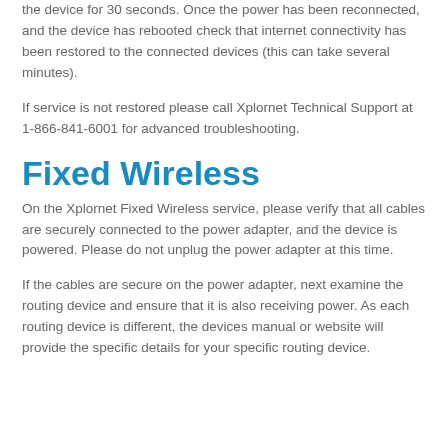the device for 30 seconds. Once the power has been reconnected, and the device has rebooted check that internet connectivity has been restored to the connected devices (this can take several minutes).
If service is not restored please call Xplornet Technical Support at 1-866-841-6001 for advanced troubleshooting.
Fixed Wireless
On the Xplornet Fixed Wireless service, please verify that all cables are securely connected to the power adapter, and the device is powered. Please do not unplug the power adapter at this time.
If the cables are secure on the power adapter, next examine the routing device and ensure that it is also receiving power. As each routing device is different, the devices manual or website will provide the specific details for your specific routing device.